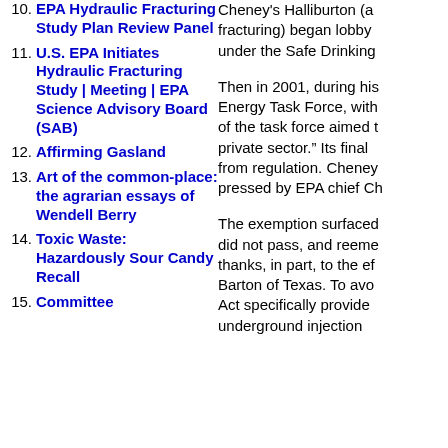10. EPA Hydraulic Fracturing Study Plan Review Panel
11. U.S. EPA Initiates Hydraulic Fracturing Study | Meeting | EPA Science Advisory Board (SAB)
12. Affirming Gasland
13. Art of the common-place: the agrarian essays of Wendell Berry
14. Toxic Waste: Hazardously Sour Candy Recall
15. Committee
Cheney's Halliburton (a... fracturing) began lobby... under the Safe Drinking...
Then in 2001, during his... Energy Task Force, with... of the task force aimed t... private sector.” Its final... from regulation. Cheney... pressed by EPA chief Ch...
The exemption surfaced... did not pass, and reemer... thanks, in part, to the eff... Barton of Texas. To avo... Act specifically provide... underground injection...